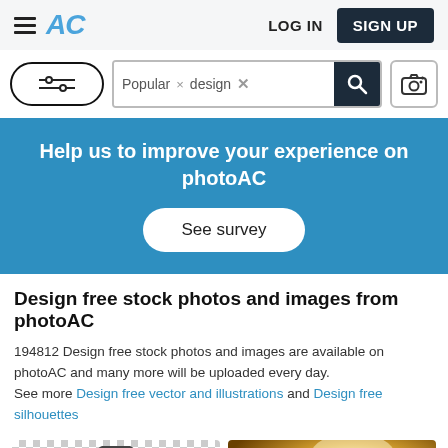AC — LOG IN   SIGN UP
[Figure (screenshot): Search bar with filter button, search tags 'Popular x design x', search icon button, and camera icon button]
Help us to improve your experience on photoAC
See survey
Design free stock photos and images from photoAC
194812 Design free stock photos and images are available on photoAC and many more will be uploaded every day.
See more Design free vector and illustrations and Design free silhouettes
[Figure (photo): Two thumbnail images: left shows a smartphone on a checkered background, right shows a warm-lit book or notebook]